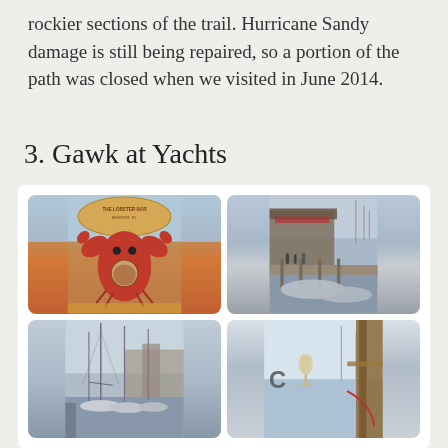rockier sections of the trail. Hurricane Sandy damage is still being repaired, so a portion of the path was closed when we visited in June 2014.
3. Gawk at Yachts
[Figure (photo): A 2x2 grid of photos from Newport, RI: top-left shows a man posing in The Lobster Bar Newport RI cutout sign; top-right shows a busy Newport marina dock with boats; bottom-left shows sailboats moored in a marina; bottom-right shows a partial view of a cocktail and marina railing.]